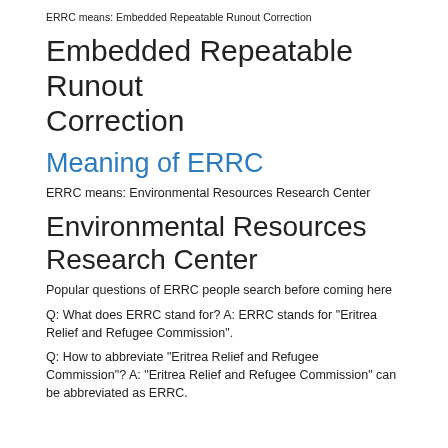ERRC means: Embedded Repeatable Runout Correction
Embedded Repeatable Runout Correction
Meaning of ERRC
ERRC means: Environmental Resources Research Center
Environmental Resources Research Center
Popular questions of ERRC people search before coming here
Q: What does ERRC stand for? A: ERRC stands for "Eritrea Relief and Refugee Commission".
Q: How to abbreviate "Eritrea Relief and Refugee Commission"? A: "Eritrea Relief and Refugee Commission" can be abbreviated as ERRC.